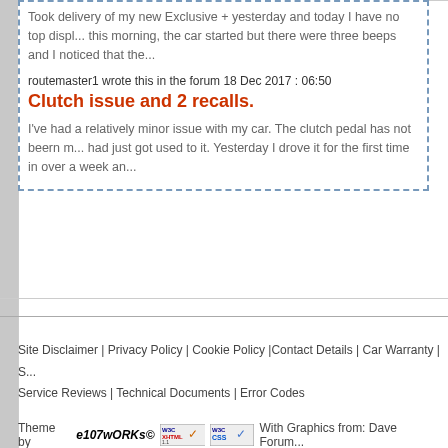Took delivery of my new Exclusive + yesterday and today I have no top displ... this morning, the car started but there were three beeps and I noticed that the...
routemaster1 wrote this in the forum 18 Dec 2017 : 06:50
Clutch issue and 2 recalls.
I've had a relatively minor issue with my car. The clutch pedal has not beern m... had just got used to it. Yesterday I drove it for the first time in over a week an...
Site Disclaimer | Privacy Policy | Cookie Policy |Contact Details | Car Warranty | S... Service Reviews | Technical Documents | Error Codes
Theme by e107wORKs© With Graphics from: Dave Forum...